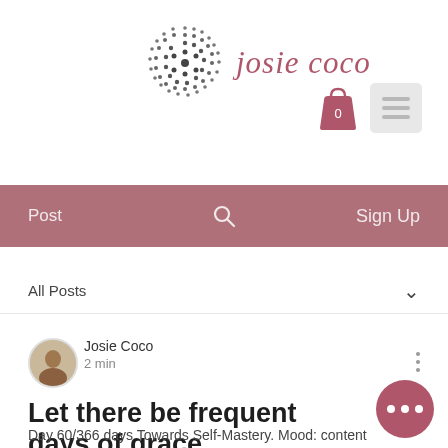[Figure (logo): Josie Coco brand logo: dotted circular pattern in dark grey alongside italic text 'josie coco' in muted rose/burgundy color]
[Figure (other): Shopping bag icon with '0' and hamburger menu icon in light grey box]
Post   🔍   Sign Up
All Posts
[Figure (photo): Circular avatar photo of Josie Coco, a woman smiling]
Josie Coco
2 min
Let there be frequent days of grace
Day 60/366 days Towards Self-Mastery. Mood: content